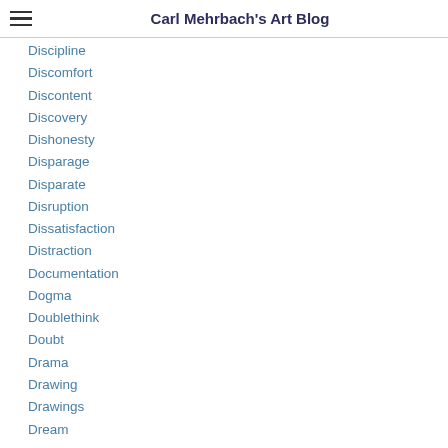Carl Mehrbach's Art Blog
Discipline
Discomfort
Discontent
Discovery
Dishonesty
Disparage
Disparate
Disruption
Dissatisfaction
Distraction
Documentation
Dogma
Doublethink
Doubt
Drama
Drawing
Drawings
Dream